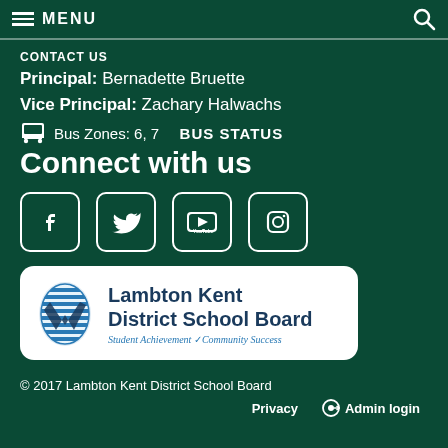MENU
CONTACT US
Principal: Bernadette Bruette
Vice Principal: Zachary Halwachs
Bus Zones: 6, 7   BUS STATUS
Connect with us
[Figure (other): Social media icons: Facebook, Twitter, YouTube, Instagram]
[Figure (logo): Lambton Kent District School Board logo with tagline: Student Achievement / Community Success]
© 2017 Lambton Kent District School Board   Privacy   Admin login